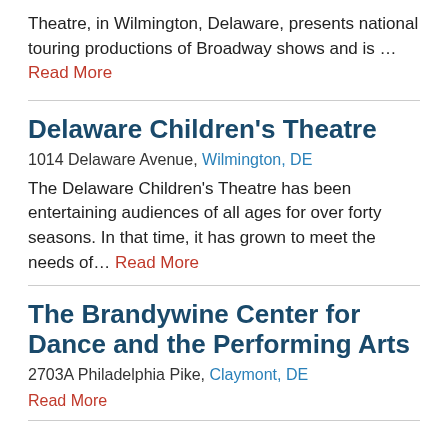Theatre, in Wilmington, Delaware, presents national touring productions of Broadway shows and is … Read More
Delaware Children's Theatre
1014 Delaware Avenue, Wilmington, DE
The Delaware Children's Theatre has been entertaining audiences of all ages for over forty seasons. In that time, it has grown to meet the needs of… Read More
The Brandywine Center for Dance and the Performing Arts
2703A Philadelphia Pike, Claymont, DE
Read More